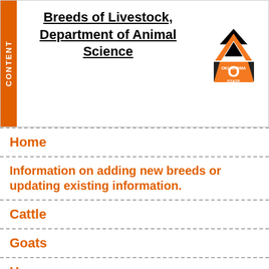CONTENT | Breeds of Livestock, Department of Animal Science
Home
Information on adding new breeds or updating existing information.
Cattle
Goats
Horses
Poultry